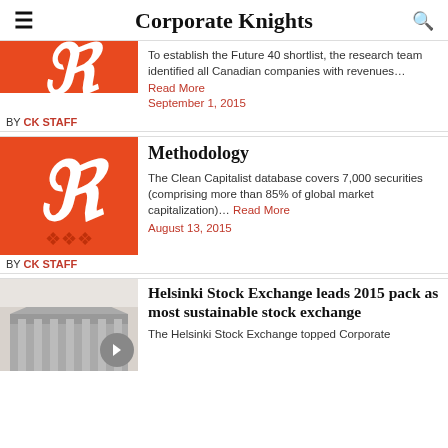Corporate Knights
[Figure (logo): Orange Corporate Knights logo thumbnail (partial, cropped at top)]
To establish the Future 40 shortlist, the research team identified all Canadian companies with revenues…
Read More
September 1, 2015
BY CK STAFF
[Figure (logo): Orange Corporate Knights logo thumbnail with stylized K]
Methodology
The Clean Capitalist database covers 7,000 securities (comprising more than 85% of global market capitalization)… Read More
August 13, 2015
BY CK STAFF
[Figure (photo): Black and white photo of a building facade with columns, Helsinki Stock Exchange]
Helsinki Stock Exchange leads 2015 pack as most sustainable stock exchange
The Helsinki Stock Exchange topped Corporate